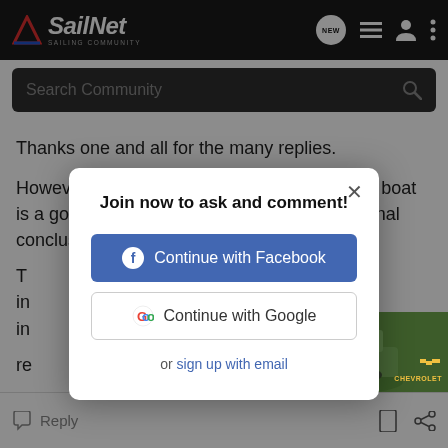SailNet SAILING COMMUNITY
Search Community
Thanks one and all for the many replies.

However this thread is not about whether this boat is a good racer or not. That may well be the final conclusion when all th...
Join now to ask and comment!
Continue with Facebook
Continue with Google
or sign up with email
Reply
[Figure (screenshot): Chevrolet Silverado 2022 advertisement banner showing truck in outdoor setting with text 'THE NEW 2022 SILVERADO.' and Explore button and Chevrolet logo]